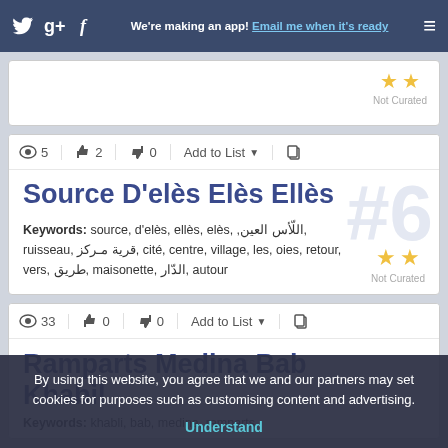We're making an app! Email me when it's ready
Not Curated
5 2 0 Add to List
Source D'elès Elès Ellès
Keywords: source, d'elès, ellès, elès, ,اللّأس العين, ruisseau, قرية مـركز, cité, centre, village, les, oies, retour, vers, طريق, maisonette, الدّار, autour
#6
Not Curated
33 0 0 Add to List
Ramparts Medina Bab Khabil
Keywords: khabli, bab, medina, ramparts
By using this website, you agree that we and our partners may set cookies for purposes such as customising content and advertising. Understand